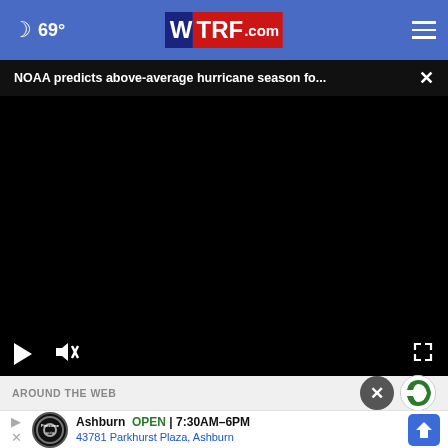69° WTRF.com navigation bar
NOAA predicts above-average hurricane season fo...
[Figure (screenshot): Black video player area with play button, mute button, and fullscreen button controls]
AROUND THE WEB
Ashburn OPEN 7:30AM–6PM 43781 Parkhurst Plaza, Ashburn